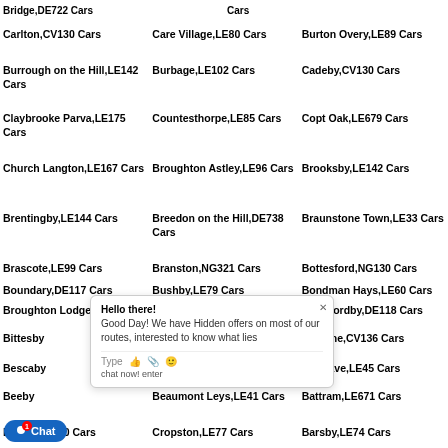Bridge,DE722 Cars | Care Village,LE80 Cars | Cars
Carlton,CV130 Cars | Care Village,LE80 Cars | Burton Overy,LE89 Cars
Burrough on the Hill,LE142 Cars | Burbage,LE102 Cars | Cadeby,CV130 Cars
Claybrooke Parva,LE175 Cars | Countesthorpe,LE85 Cars | Copt Oak,LE679 Cars
Church Langton,LE167 Cars | Broughton Astley,LE96 Cars | Brooksby,LE142 Cars
Brentingby,LE144 Cars | Breedon on the Hill,DE738 Cars | Braunstone Town,LE33 Cars
Brascote,LE99 Cars | Branston,NG321 Cars | Bottesford,NG130 Cars
Boundary,DE117 Cars | Bushby,LE79 Cars | Bondman Hays,LE60 Cars
Broughton Lodge... | Black Friars,LE35 Cars | Blackfordby,DE118 Cars
Bittesby... | Birstall,LE44 Cars | Bilstone,CV136 Cars
Bescaby... | Belvoir,NG321 Cars | Belgrave,LE45 Cars
Beeby... | Beaumont Leys,LE41 Cars | Battram,LE671 Cars
Beans,CV130 Cars | Cropston,LE77 Cars | Barsby,LE74 Cars